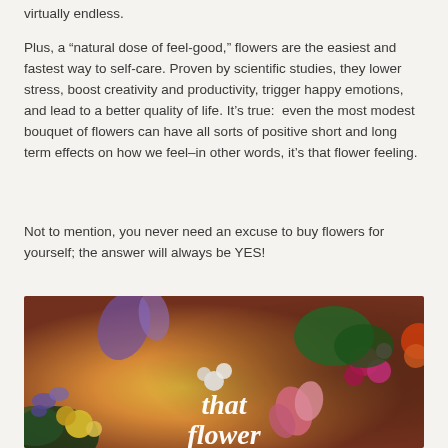virtually endless.
Plus, a “natural dose of feel-good,” flowers are the easiest and fastest way to self-care. Proven by scientific studies, they lower stress, boost creativity and productivity, trigger happy emotions, and lead to a better quality of life. It’s true:  even the most modest bouquet of flowers can have all sorts of positive short and long term effects on how we feel–in other words, it’s that flower feeling.
Not to mention, you never need an excuse to buy flowers for yourself; the answer will always be YES!
[Figure (photo): A lush, colorful floral scene with vibrant flowers including yellows, pinks, purples, and oranges against a warm golden light background, with the text 'that flower' overlaid in white serif italic font.]